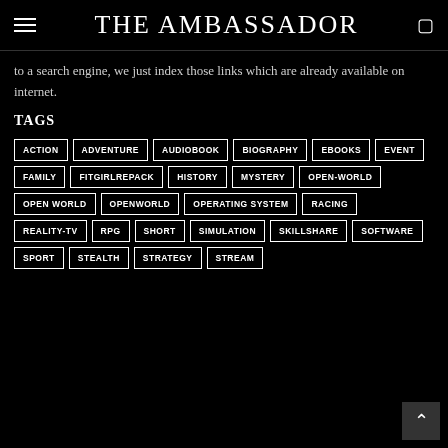THE AMBASSADOR
to a search engine, we just index those links which are already available on internet.
TAGS
ACTION
ADVENTURE
AUDIOBOOK
BIOGRAPHY
EBOOKS
EVENT
FAMILY
FITGIRLREPACK
HISTORY
MYSTERY
OPEN-WORLD
OPEN WORLD
OPENWORLD
OPERATING SYSTEM
RACING
REALITY-TV
RPG
SHORT
SIMULATION
SKILLSHARE
SOFTWARE
SPORT
STEALTH
STRATEGY
STREAM